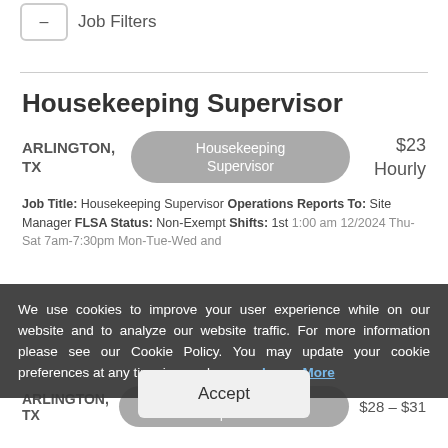Job Filters
Housekeeping Supervisor
ARLINGTON, TX   Housekeeping Supervisor   $23 Hourly
Job Title: Housekeeping Supervisor Operations Reports To: Site Manager FLSA Status: Non-Exempt Shifts: 1st ...
We use cookies to improve your user experience while on our website and to analyze our website traffic. For more information please see our Cookie Policy. You may update your cookie preferences at any time in your browser. Learn More
Maintenance Supervisor
ARLINGTON, TX   Maintenance Supervisor   $28 – $31